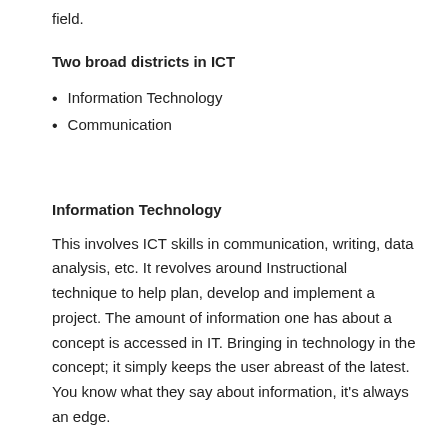field.
Two broad districts in ICT
Information Technology
Communication
Information Technology
This involves ICT skills in communication, writing, data analysis, etc. It revolves around Instructional technique to help plan, develop and implement a project. The amount of information one has about a concept is accessed in IT. Bringing in technology in the concept; it simply keeps the user abreast of the latest. You know what they say about information, it's always an edge.